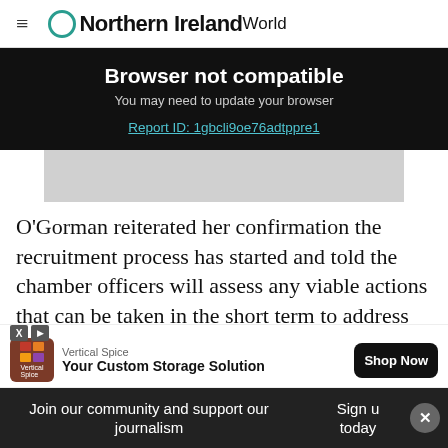≡ Northern Ireland World
Browser not compatible
You may need to update your browser
Report ID: 1gbcli9oe76adtppre1
O'Gorman reiterated her confirmation the recruitment process has started and told the chamber officers will assess any viable actions that can be taken in the short term to address the
[Figure (screenshot): Advertisement banner: Vertical Spice logo, 'Your Custom Storage Solution', Shop Now button]
Join our community and support our journalism
Sign up today